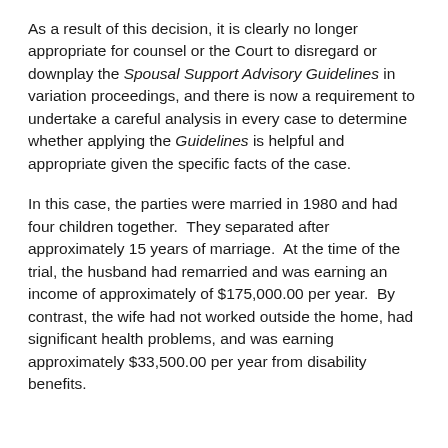As a result of this decision, it is clearly no longer appropriate for counsel or the Court to disregard or downplay the Spousal Support Advisory Guidelines in variation proceedings, and there is now a requirement to undertake a careful analysis in every case to determine whether applying the Guidelines is helpful and appropriate given the specific facts of the case.
In this case, the parties were married in 1980 and had four children together. They separated after approximately 15 years of marriage. At the time of the trial, the husband had remarried and was earning an income of approximately of $175,000.00 per year. By contrast, the wife had not worked outside the home, had significant health problems, and was earning approximately $33,500.00 per year from disability benefits.